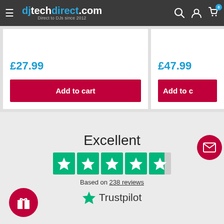[Figure (screenshot): djtechdirect.com website header with logo, hamburger menu, search, account, and cart icons]
£27.99
Add to cart
£47.99
Add to c
Excellent
[Figure (other): Trustpilot 4.5 star rating — 5 green star boxes with 4 full stars and 1 half star]
Based on 238 reviews
[Figure (logo): Trustpilot logo with green star and text]